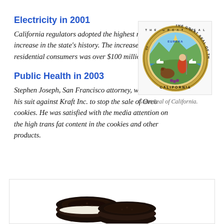Electricity in 2001
California regulators adopted the highest rate increase in the state's history. The increased cost to residential consumers was over $100 million.
[Figure (illustration): Great Seal of the State of California — circular gold seal with 'EUREKA' text and imagery of a seated woman, bear, ships, and mountains]
Great Seal of California.
Public Health in 2003
Stephen Joseph, San Francisco attorney, withdrew his suit against Kraft Inc. to stop the sale of Oreo cookies. He was satisfied with the media attention on the high trans fat content in the cookies and other products.
[Figure (photo): Photo of Oreo cookies, dark chocolate sandwich cookies, viewed from above at the bottom of the page]